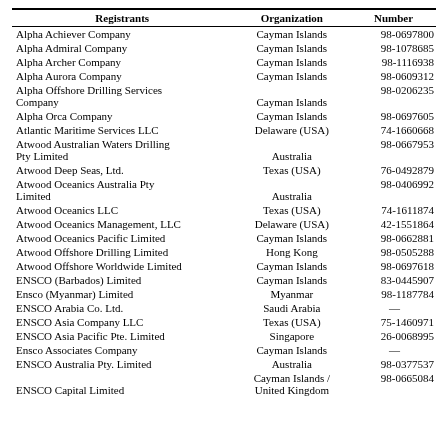| Registrants | Organization | Number |
| --- | --- | --- |
| Alpha Achiever Company | Cayman Islands | 98-0697800 |
| Alpha Admiral Company | Cayman Islands | 98-1078685 |
| Alpha Archer Company | Cayman Islands | 98-1116938 |
| Alpha Aurora Company | Cayman Islands | 98-0609312 |
| Alpha Offshore Drilling Services Company | Cayman Islands | 98-0206235 |
| Alpha Orca Company | Cayman Islands | 98-0697605 |
| Atlantic Maritime Services LLC | Delaware (USA) | 74-1660668 |
| Atwood Australian Waters Drilling Pty Limited | Australia | 98-0667953 |
| Atwood Deep Seas, Ltd. | Texas (USA) | 76-0492879 |
| Atwood Oceanics Australia Pty Limited | Australia | 98-0406992 |
| Atwood Oceanics LLC | Texas (USA) | 74-1611874 |
| Atwood Oceanics Management, LLC | Delaware (USA) | 42-1551864 |
| Atwood Oceanics Pacific Limited | Cayman Islands | 98-0662881 |
| Atwood Offshore Drilling Limited | Hong Kong | 98-0505288 |
| Atwood Offshore Worldwide Limited | Cayman Islands | 98-0697618 |
| ENSCO (Barbados) Limited | Cayman Islands | 83-0445907 |
| Ensco (Myanmar) Limited | Myanmar | 98-1187784 |
| ENSCO Arabia Co. Ltd. | Saudi Arabia | — |
| ENSCO Asia Company LLC | Texas (USA) | 75-1460971 |
| ENSCO Asia Pacific Pte. Limited | Singapore | 26-0068995 |
| Ensco Associates Company | Cayman Islands | — |
| ENSCO Australia Pty. Limited | Australia | 98-0377537 |
| ENSCO Capital Limited | Cayman Islands / United Kingdom | 98-0665084 |